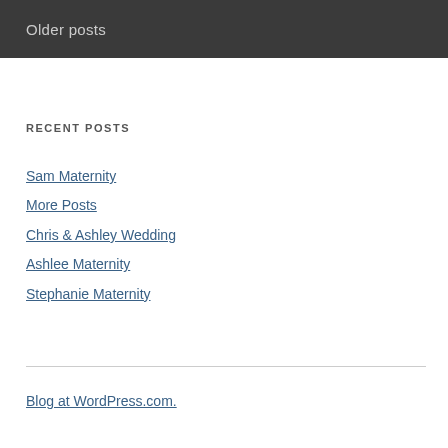Older posts
RECENT POSTS
Sam Maternity
More Posts
Chris & Ashley Wedding
Ashlee Maternity
Stephanie Maternity
Blog at WordPress.com.